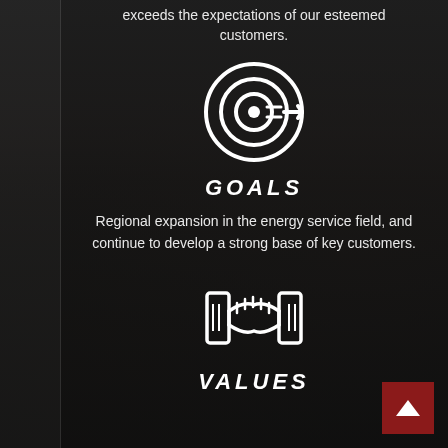exceeds the expectations of our esteemed customers.
[Figure (illustration): White outline target/goal icon (bullseye with arrow) on dark background]
GOALS
Regional expansion in the energy service field, and continue to develop a strong base of key customers.
[Figure (illustration): White outline handshake icon on dark background]
VALUES